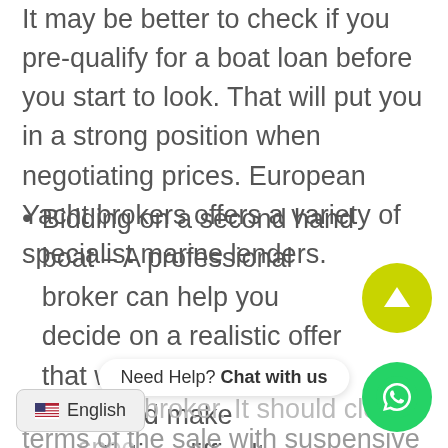It may be better to check if you pre-qualify for a boat loan before you start to look. That will put you in a strong position when negotiating prices. European Yacht brokers offers a variety of specialist marine lenders.
Bidding on a second hand boat – A professional broker can help you decide on a realistic offer that will not alienate the seller and make negotiating difficult or impossible. Your broker prepares an Offer to Purchase for. This part of the transaction is particularly important on behalf of a broker. It should clearly spell out the terms of the sale with suspensive